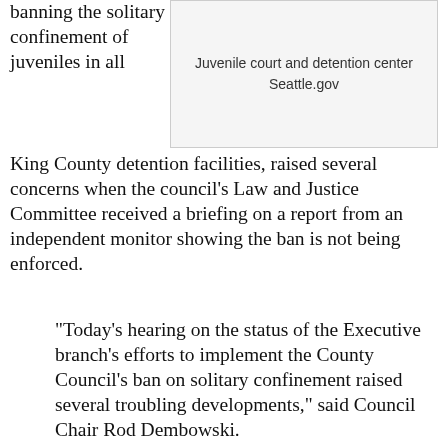banning the solitary confinement of juveniles in all King County detention facilities, raised several concerns when the council's Law and Justice Committee received a briefing on a report from an independent monitor showing the ban is not being enforced.
[Figure (photo): Juvenile court and detention center — Seattle.gov]
“Today’s hearing on the status of the Executive branch’s efforts to implement the County Council’s ban on solitary confinement raised several troubling developments,” said Council Chair Rod Dembowski.
“Executive staff leading the Department of Adult and Juvenile Detention was unsure of the deadline to implement the law, and couldn’t, or wouldn’t, confirm the failure to comply with the council’s ban on solitary confinement, as reported by the independent monitor.